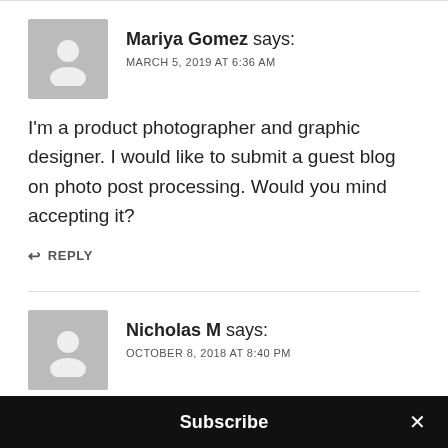[Figure (illustration): Gray avatar placeholder icon of a person silhouette for user Mariya Gomez]
Mariya Gomez says:
MARCH 5, 2019 AT 6:36 AM
I'm a product photographer and graphic designer. I would like to submit a guest blog on photo post processing. Would you mind accepting it?
↩ REPLY
[Figure (illustration): Gray avatar placeholder icon of a person silhouette for user Nicholas M]
Nicholas M says:
OCTOBER 8, 2018 AT 8:40 PM
Hi Steve,
Subscribe ×